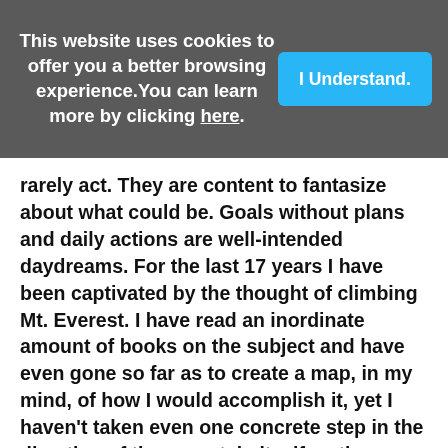This website uses cookies to offer you a better browsing experience. You can learn more by clicking here.
rarely act. They are content to fantasize about what could be. Goals without plans and daily actions are well-intended daydreams. For the last 17 years I have been captivated by the thought of climbing Mt. Everest. I have read an inordinate amount of books on the subject and have even gone so far as to create a map, in my mind, of how I would accomplish it, yet I haven't taken even one concrete step in the direction of the mountain itself so the dream lives on but it appears it will never materialize.   Each of us has a lifeline that we are currently moving along to our final